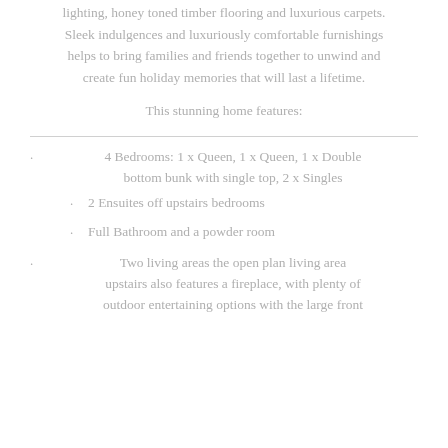lighting, honey toned timber flooring and luxurious carpets. Sleek indulgences and luxuriously comfortable furnishings helps to bring families and friends together to unwind and create fun holiday memories that will last a lifetime.
This stunning home features:
4 Bedrooms: 1 x Queen, 1 x Queen, 1 x Double bottom bunk with single top, 2 x Singles
2 Ensuites off upstairs bedrooms
Full Bathroom and a powder room
Two living areas the open plan living area upstairs also features a fireplace, with plenty of outdoor entertaining options with the large front